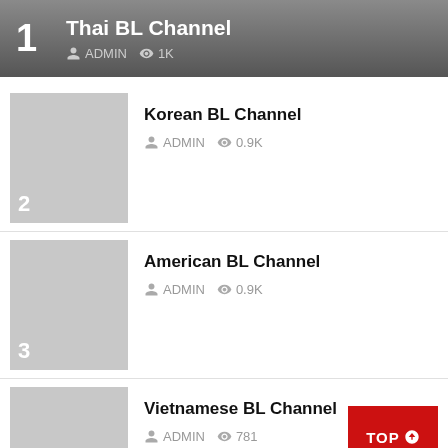1  Thai BL Channel  ADMIN  1K
2  Korean BL Channel  ADMIN  0.9K
3  American BL Channel  ADMIN  0.9K
4  Vietnamese BL Channel  ADMIN  781  TOP